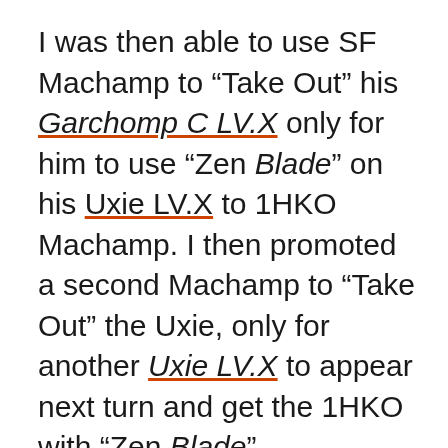I was then able to use SF Machamp to “Take Out” his Garchomp C LV.X only for him to use “Zen Blade” on his Uxie LV.X to 1HKO Machamp. I then promoted a second Machamp to “Take Out” the Uxie, only for another Uxie LV.X to appear next turn and get the 1HKO with “Zen Blade”.
My only hope now was Donphan but with an active Phanpy with energy but no Donphan or belt I couldn’t do much and he was able to “Bright Look” a